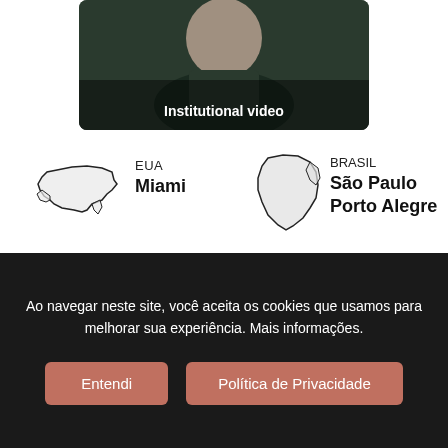[Figure (photo): Video thumbnail showing a man in a dark polo shirt, with overlay text 'Institutional video']
Institutional video
[Figure (illustration): Outline map of the USA with label EUA and city Miami]
EUA
Miami
[Figure (illustration): Outline map of Brazil with label BRASIL and cities São Paulo, Porto Alegre]
BRASIL
São Paulo
Porto Alegre
Ao navegar neste site, você aceita os cookies que usamos para melhorar sua experiência. Mais informações.
Entendi
Política de Privacidade